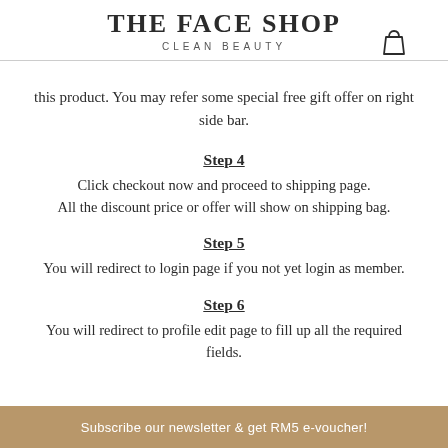THE FACE SHOP
CLEAN BEAUTY
this product. You may refer some special free gift offer on right side bar.
Step 4
Click checkout now and proceed to shipping page.
All the discount price or offer will show on shipping bag.
Step 5
You will redirect to login page if you not yet login as member.
Step 6
You will redirect to profile edit page to fill up all the required fields.
Subscribe our newsletter & get RM5 e-voucher!